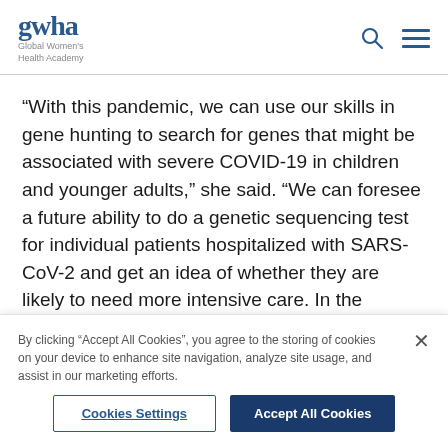gwha Global Women's Health Academy
“With this pandemic, we can use our skills in gene hunting to search for genes that might be associated with severe COVID-19 in children and younger adults,” she said. “We can foresee a future ability to do a genetic sequencing test for individual patients hospitalized with SARS-CoV-2 and get an idea of whether they are likely to need more intensive care. In the meantime, we will be able to learn a great deal about how the immune system responds to this virus and what it needs to be
By clicking “Accept All Cookies”, you agree to the storing of cookies on your device to enhance site navigation, analyze site usage, and assist in our marketing efforts.
Cookies Settings
Accept All Cookies